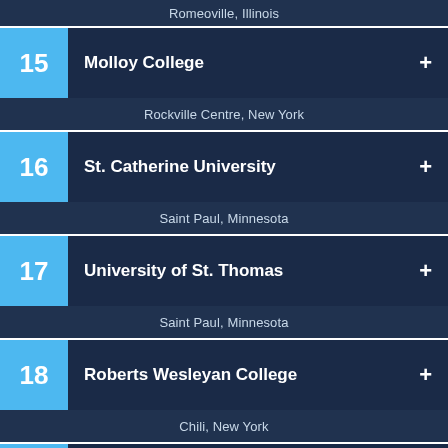Romeoville, Illinois
15 Molloy College — Rockville Centre, New York
16 St. Catherine University — Saint Paul, Minnesota
17 University of St. Thomas — Saint Paul, Minnesota
18 Roberts Wesleyan College — Chili, New York
19 Mount Vernon Nazarene